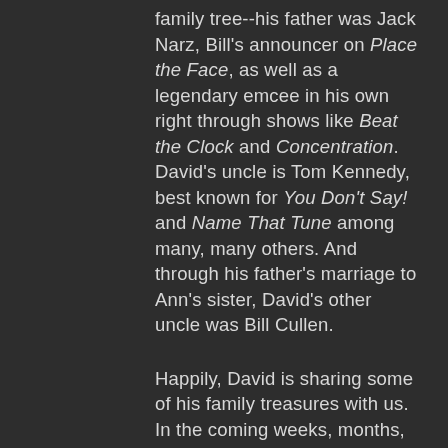family tree--his father was Jack Narz, Bill's announcer on Place the Face, as well as a legendary emcee in his own right through shows like Beat the Clock and Concentration. David's uncle is Tom Kennedy, best known for You Don't Say! and Name That Tune among many, many others. And through his father's marriage to Ann's sister, David's other uncle was Bill Cullen.
Happily, David is sharing some of his family treasures with us. In the coming weeks, months, and years, you'll be seeing more of Bill and Ann's photos, papers, and possibly video. We are honored by the family's approval and involvement with our work here and we're looking forward to expanding...